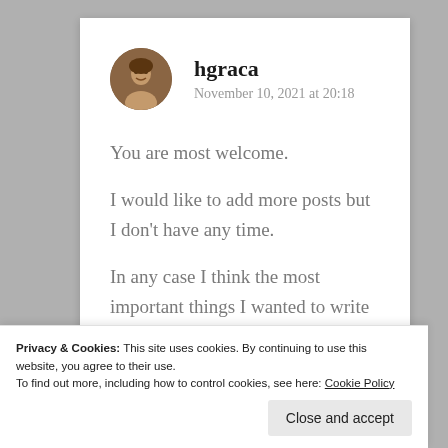[Figure (photo): Circular avatar photo of user hgraca, showing a man's face]
hgraca
November 10, 2021 at 20:18
You are most welcome.

I would like to add more posts but I don't have any time.

In any case I think the most important things I wanted to write somewhere
Privacy & Cookies: This site uses cookies. By continuing to use this website, you agree to their use.
To find out more, including how to control cookies, see here: Cookie Policy
Close and accept